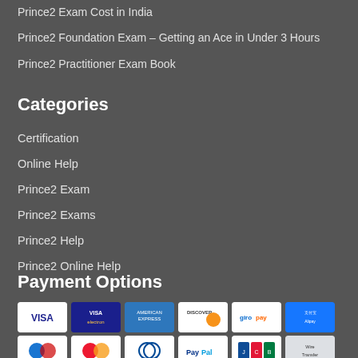Prince2 Exam Cost in India
Prince2 Foundation Exam – Getting an Ace in Under 3 Hours
Prince2 Practitioner Exam Book
Categories
Certification
Online Help
Prince2 Exam
Prince2 Exams
Prince2 Help
Prince2 Online Help
Payment Options
[Figure (other): Payment method icons: Visa, Visa Electron, American Express, Discover, Giropay, Alipay, Maestro, MasterCard, Diners Club, PayPal, JCB, Wire Transfer]